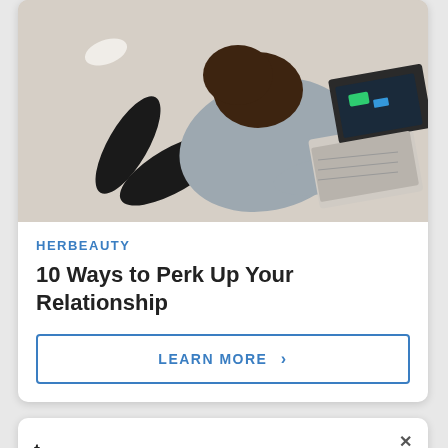[Figure (photo): Overhead view of a woman lying on a beige carpet, wearing a grey hoodie and black pants, working on a silver laptop]
HERBEAUTY
10 Ways to Perk Up Your Relationship
LEARN MORE >
×